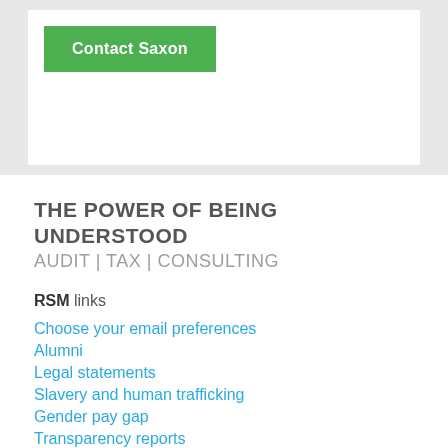[Figure (other): Green 'Contact Saxon' button inside a white card on a light grey background]
THE POWER OF BEING UNDERSTOOD
AUDIT | TAX | CONSULTING
RSM links
Choose your email preferences
Alumni
Legal statements
Slavery and human trafficking
Gender pay gap
Transparency reports